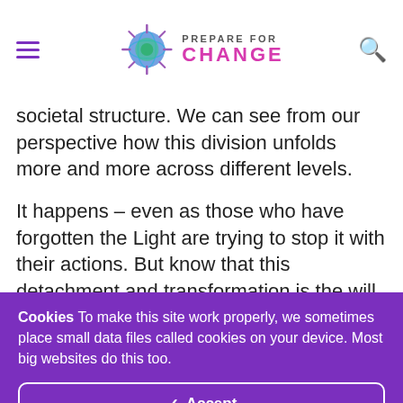PREPARE FOR CHANGE
societal structure. We can see from our perspective how this division unfolds more and more across different levels.
It happens – even as those who have forgotten the Light are trying to stop it with their actions. But know that this detachment and transformation is the will of the Creator, whom we serve, and is, therefore, inevitable for all – and
Cookies To make this site work properly, we sometimes place small data files called cookies on your device. Most big websites do this too.